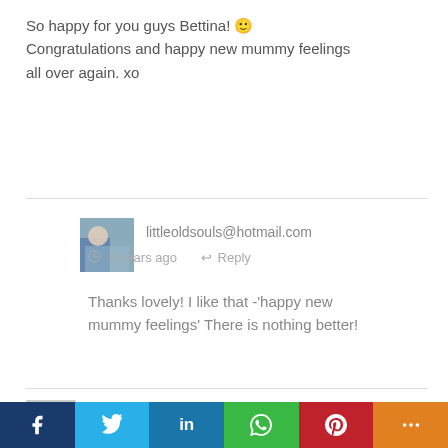So happy for you guys Bettina! 🙂 Congratulations and happy new mummy feelings all over again. xo
littleoldsouls@hotmail.com
8 years ago  Reply
Thanks lovely! I like that -'happy new mummy feelings' There is nothing nothing better!
Elisa {With Grace & Eve}  8 years ago
Reply